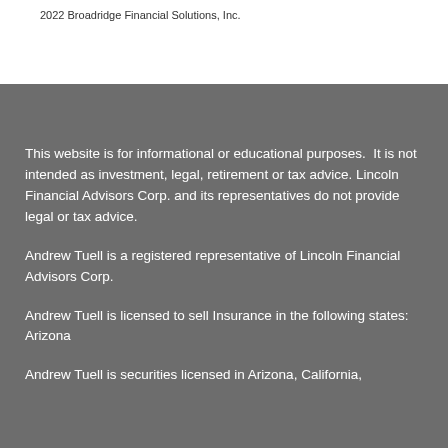2022 Broadridge Financial Solutions, Inc.
This website is for informational or educational purposes.  It is not intended as investment, legal, retirement or tax advice. Lincoln Financial Advisors Corp. and its representatives do not provide legal or tax advice.
Andrew Tuell is a registered representative of Lincoln Financial Advisors Corp.
Andrew Tuell is licensed to sell Insurance in the following states: Arizona
Andrew Tuell is securities licensed in Arizona, California,